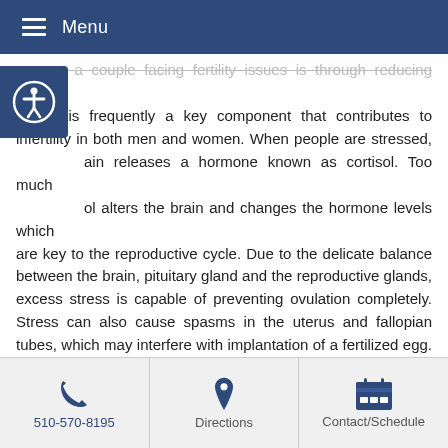Menu
support a couple facing fertility issues is through reducing stress. Stress is frequently a key component that contributes to infertility in both men and women. When people are stressed, brain releases a hormone known as cortisol. Too much cortisol alters the brain and changes the hormone levels which are key to the reproductive cycle. Due to the delicate balance between the brain, pituitary gland and the reproductive glands, excess stress is capable of preventing ovulation completely. Stress can also cause spasms in the uterus and fallopian tubes, which may interfere with implantation of a fertilized egg. In men, stress can alter sperm count, sperm motility and cause impotence. Acupuncture has the ability to counter the effects of stress.
Regular acupuncture treatments are also very effective at decreasing and removing excess phlegm in the lower body. This
510-570-8195 | Directions | Contact/Schedule